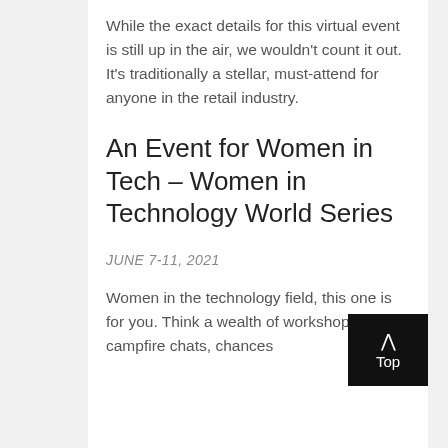While the exact details for this virtual event is still up in the air, we wouldn't count it out. It's traditionally a stellar, must-attend for anyone in the retail industry.
An Event for Women in Tech – Women in Technology World Series
JUNE 7-11, 2021
Women in the technology field, this one is for you. Think a wealth of workshops, campfire chats, chances